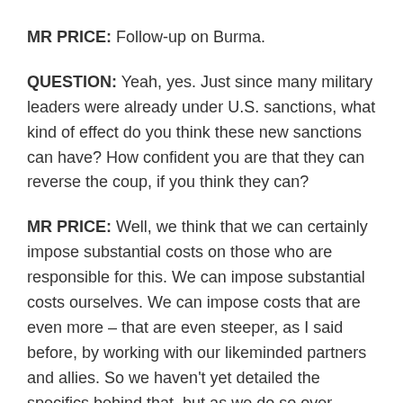MR PRICE: Follow-up on Burma.
QUESTION: Yeah, yes. Just since many military leaders were already under U.S. sanctions, what kind of effect do you think these new sanctions can have? How confident you are that they can reverse the coup, if you think they can?
MR PRICE: Well, we think that we can certainly impose substantial costs on those who are responsible for this. We can impose substantial costs ourselves. We can impose costs that are even more – that are even steeper, as I said before, by working with our likeminded partners and allies. So we haven't yet detailed the specifics behind that, but as we do so over